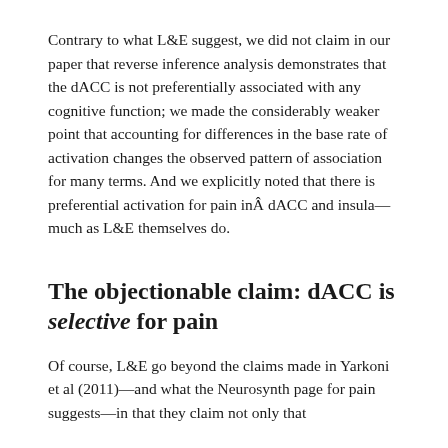Contrary to what L&E suggest, we did not claim in our paper that reverse inference analysis demonstrates that the dACC is not preferentially associated with any cognitive function; we made the considerably weaker point that accounting for differences in the base rate of activation changes the observed pattern of association for many terms. And we explicitly noted that there is preferential activation for pain inÂ dACC and insula—much as L&E themselves do.
The objectionable claim: dACC is selective for pain
Of course, L&E go beyond the claims made in Yarkoni et al (2011)—and what the Neurosynth page for pain suggests—in that they claim not only that...